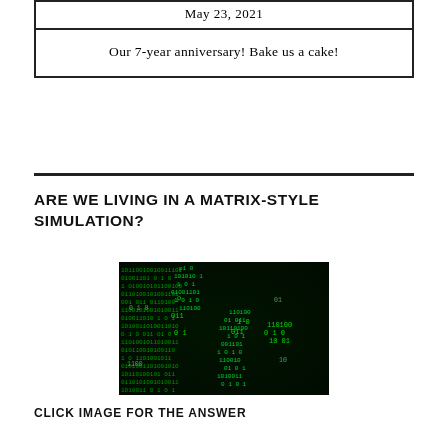| May 23, 2021 |
| Our 7-year anniversary! Bake us a cake! |
ARE WE LIVING IN A MATRIX-STYLE SIMULATION?
[Figure (photo): Dark image with green Matrix-style binary code characters cascading on a black background]
CLICK IMAGE FOR THE ANSWER